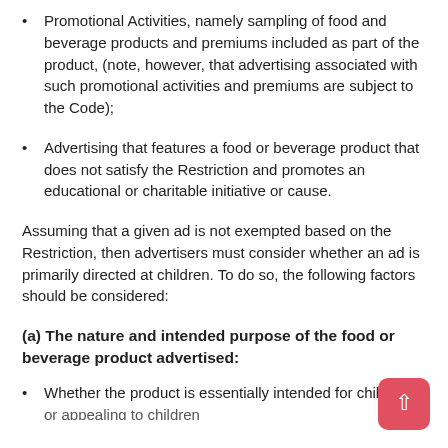Promotional Activities, namely sampling of food and beverage products and premiums included as part of the product, (note, however, that advertising associated with such promotional activities and premiums are subject to the Code);
Advertising that features a food or beverage product that does not satisfy the Restriction and promotes an educational or charitable initiative or cause.
Assuming that a given ad is not exempted based on the Restriction, then advertisers must consider whether an ad is primarily directed at children. To do so, the following factors should be considered:
(a) The nature and intended purpose of the food or beverage product advertised:
Whether the product is essentially intended for children or appealing to children